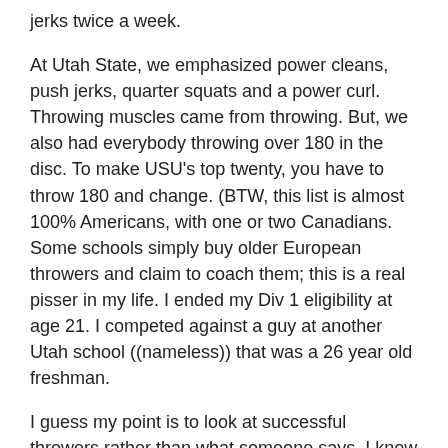jerks twice a week.
At Utah State, we emphasized power cleans, push jerks, quarter squats and a power curl. Throwing muscles came from throwing. But, we also had everybody throwing over 180 in the disc. To make USU's top twenty, you have to throw 180 and change. (BTW, this list is almost 100% Americans, with one or two Canadians. Some schools simply buy older European throwers and claim to coach them; this is a real pisser in my life. I ended my Div 1 eligibility at age 21. I competed against a guy at another Utah school ((nameless)) that was a 26 year old freshman.
I guess my point is to look at successful throwers rather than what someone says. I know that seems assbackwards, but when you talk with Anthony Washington and he tells you that he spends four months a year just doing circuit training on the universal gym in his girlfriend's apartment complex, then nails a 232 throw, you need to reaccess “science” and review the throws as art. American throwers especially seem to do better when they focus on their strengths or local resources rather than listening to some guy at a clinic. Fortunately, we seem to be getting people at these clinics in the past few years, but we still have a major drugger giving a lot of throws clinics.
In my career, I tried everything, but I found that snatches and squats